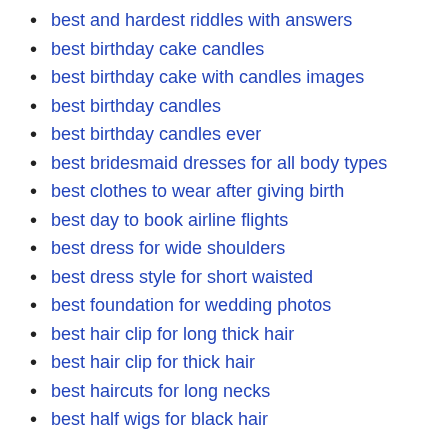best and hardest riddles with answers
best birthday cake candles
best birthday cake with candles images
best birthday candles
best birthday candles ever
best bridesmaid dresses for all body types
best clothes to wear after giving birth
best day to book airline flights
best dress for wide shoulders
best dress style for short waisted
best foundation for wedding photos
best hair clip for long thick hair
best hair clip for thick hair
best haircuts for long necks
best half wigs for black hair